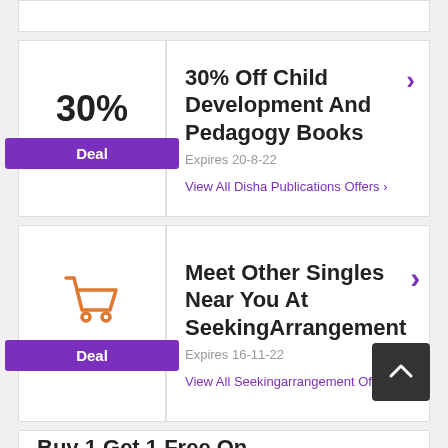30%
Deal
30% Off Child Development And Pedagogy Books
Expires 20-8-22
View All Disha Publications Offers >
[Figure (illustration): Shopping cart icon in orange]
Deal
Meet Other Singles Near You At SeekingArrangement
Expires 16-11-22
View All Seekingarrangement Offers >
Buy 1 Get 1 Free On